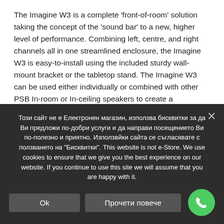The Imagine W3 is a complete 'front-of-room' solution taking the concept of the 'sound bar' to a new, higher level of performance. Combining left, centre, and right channels all in one streamlined enclosure, the Imagine W3 is easy-to-install using the included sturdy wall-mount bracket or the tabletop stand. The Imagine W3 can be used either individually or combined with other PSB In-room or In-ceiling speakers to create a sophisticated high performance home theatre solution.
At merely 3 inches (75mm) deep, this speaker hugs the wall for
Този сайт не е Електронен магазин, използва бисквитки за да Ви предложи по-добри услуги и да направи посещението Ви по-полезно и приятно. Използвйки сайта се съгласявате с ползването на "Бисквитки". This website is not e-Store. We use cookies to ensure that we give you the best experience on our website. If you continue to use this site we will assume that you are happy with it.